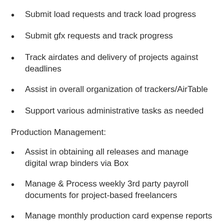Submit load requests and track load progress
Submit gfx requests and track progress
Track airdates and delivery of projects against deadlines
Assist in overall organization of trackers/AirTable
Support various administrative tasks as needed
Production Management:
Assist in obtaining all releases and manage digital wrap binders via Box
Manage & Process weekly 3rd party payroll documents for project-based freelancers
Manage monthly production card expense reports for marketing & shortform depts
Research locations, set crew, production companies,